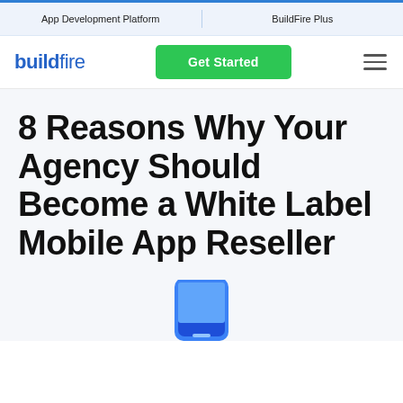App Development Platform | BuildFire Plus
[Figure (logo): BuildFire logo with blue text and Get Started green button and hamburger menu icon]
8 Reasons Why Your Agency Should Become a White Label Mobile App Reseller
[Figure (illustration): Partial view of a blue smartphone illustration at the bottom of the page]